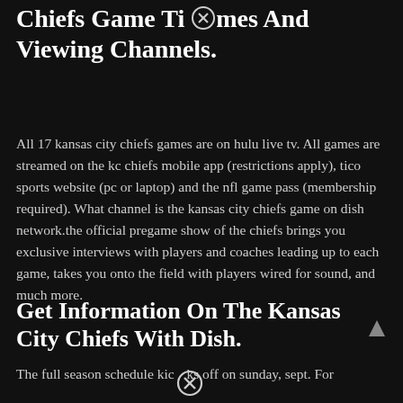Chiefs Game Times And Viewing Channels.
All 17 kansas city chiefs games are on hulu live tv. All games are streamed on the kc chiefs mobile app (restrictions apply), tico sports website (pc or laptop) and the nfl game pass (membership required). What channel is the kansas city chiefs game on dish network.the official pregame show of the chiefs brings you exclusive interviews with players and coaches leading up to each game, takes you onto the field with players wired for sound, and much more.
Get Information On The Kansas City Chiefs With Dish.
The full season schedule kicks off on sunday, sept. For